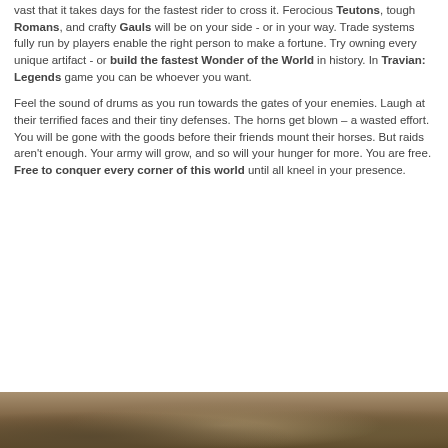vast that it takes days for the fastest rider to cross it. Ferocious Teutons, tough Romans, and crafty Gauls will be on your side - or in your way. Trade systems fully run by players enable the right person to make a fortune. Try owning every unique artifact - or build the fastest Wonder of the World in history. In Travian: Legends game you can be whoever you want.
Feel the sound of drums as you run towards the gates of your enemies. Laugh at their terrified faces and their tiny defenses. The horns get blown – a wasted effort. You will be gone with the goods before their friends mount their horses. But raids aren't enough. Your army will grow, and so will your hunger for more. You are free. Free to conquer every corner of this world until all kneel in your presence.
[Figure (photo): Bottom portion of a photograph showing an outdoor scene with warm brown and tan tones, partially visible at the bottom of the page.]